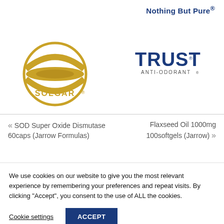Nothing But Pure®
[Figure (logo): Solgar® circular gold logo with the text SOLGAR® in gold letters and concentric circular arc design]
[Figure (logo): TRUST ANTI-ODORANT® logo with TRUST in bold blue letters and ANTI-ODORANT® in smaller text below]
« SOD Super Oxide Dismutase 60caps (Jarrow Formulas)
Flaxseed Oil 1000mg 100softgels (Jarrow) »
We use cookies on our website to give you the most relevant experience by remembering your preferences and repeat visits. By clicking "Accept", you consent to the use of ALL the cookies.
Cookie settings
ACCEPT